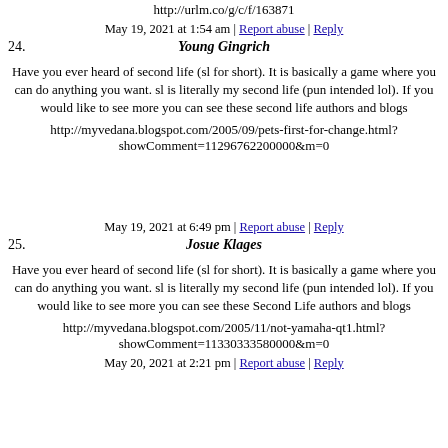http://urlm.co/g/c/f/163871
May 19, 2021 at 1:54 am | Report abuse | Reply
24. Young Gingrich
Have you ever heard of second life (sl for short). It is basically a game where you can do anything you want. sl is literally my second life (pun intended lol). If you would like to see more you can see these second life authors and blogs
http://myvedana.blogspot.com/2005/09/pets-first-for-change.html?showComment=11296762200000&m=0
May 19, 2021 at 6:49 pm | Report abuse | Reply
25. Josue Klages
Have you ever heard of second life (sl for short). It is basically a game where you can do anything you want. sl is literally my second life (pun intended lol). If you would like to see more you can see these Second Life authors and blogs
http://myvedana.blogspot.com/2005/11/not-yamaha-qt1.html?showComment=11330333580000&m=0
May 20, 2021 at 2:21 pm | Report abuse | Reply